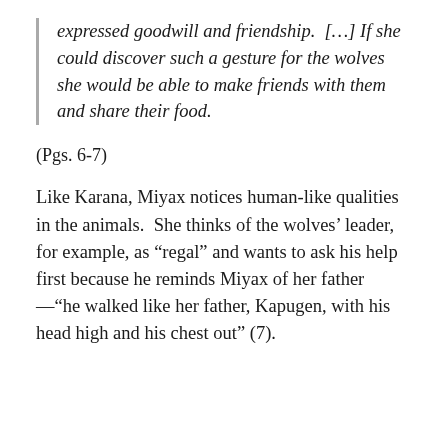expressed goodwill and friendship.  [...] If she could discover such a gesture for the wolves she would be able to make friends with them and share their food.
(Pgs. 6-7)
Like Karana, Miyax notices human-like qualities in the animals.  She thinks of the wolves' leader, for example, as “regal” and wants to ask his help first because he reminds Miyax of her father —“he walked like her father, Kapugen, with his head high and his chest out” (7).